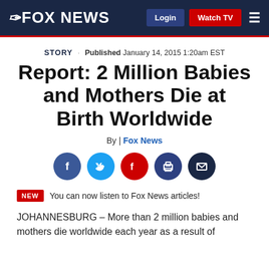FOX NEWS | Login | Watch TV
STORY · Published January 14, 2015 1:20am EST
Report: 2 Million Babies and Mothers Die at Birth Worldwide
By | Fox News
[Figure (other): Social share buttons: Facebook, Twitter, Flipboard, Print, Email]
NEW  You can now listen to Fox News articles!
JOHANNESBURG – More than 2 million babies and mothers die worldwide each year as a result of